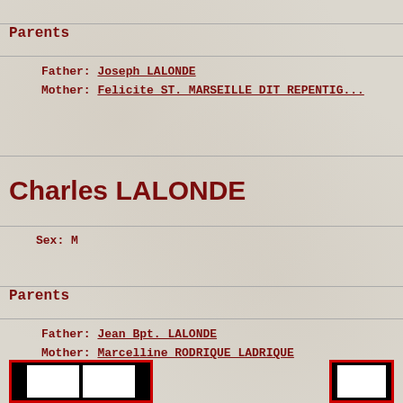Parents
Father: Joseph LALONDE
Mother: Felicite ST. MARSEILLE DIT REPENTIG...
Charles LALONDE
Sex: M
Parents
Father: Jean Bpt. LALONDE
Mother: Marcelline RODRIQUE LADRIQUE
[Figure (other): Navigation icon boxes at bottom of genealogy page]